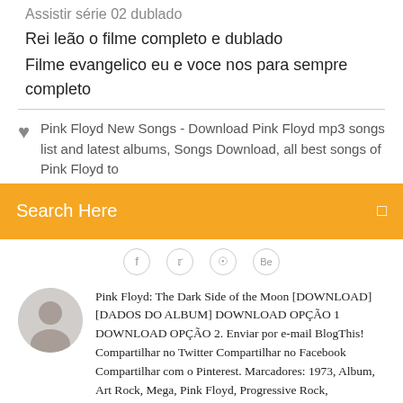Assistir série 02 dublado
Rei leão o filme completo e dublado
Filme evangelico eu e voce nos para sempre completo
Pink Floyd New Songs - Download Pink Floyd mp3 songs list and latest albums, Songs Download, all best songs of Pink Floyd to
Search Here
[Figure (screenshot): Social media share icons: Facebook, Twitter, Google+, Behance]
Pink Floyd: The Dark Side of the Moon [DOWNLOAD] [DADOS DO ALBUM] DOWNLOAD OPÇÃO 1 DOWNLOAD OPÇÃO 2. Enviar por e-mail BlogThis! Compartilhar no Twitter Compartilhar no Facebook Compartilhar com o Pinterest. Marcadores: 1973, Album, Art Rock, Mega, Pink Floyd, Progressive Rock, Psychedelic Rock, Space Rock. Nenhum comentário: